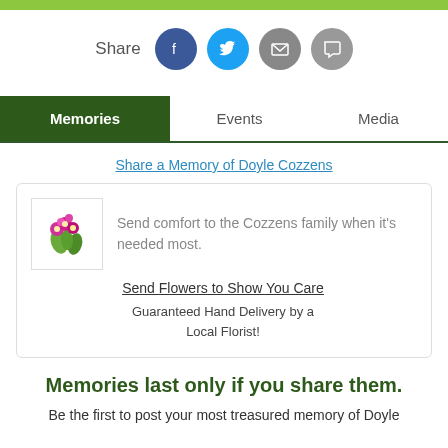[Figure (other): Green horizontal bar at top of page]
Share
[Figure (infographic): Social share icons: Facebook (blue), Twitter (cyan), Email (gray), Comment (gray)]
Memories | Events | Media
Share a Memory of Doyle Cozzens
[Figure (illustration): Flower bouquet image inside a bordered box]
Send comfort to the Cozzens family when it's needed most.
Send Flowers to Show You Care
Guaranteed Hand Delivery by a Local Florist!
Memories last only if you share them.
Be the first to post your most treasured memory of Doyle